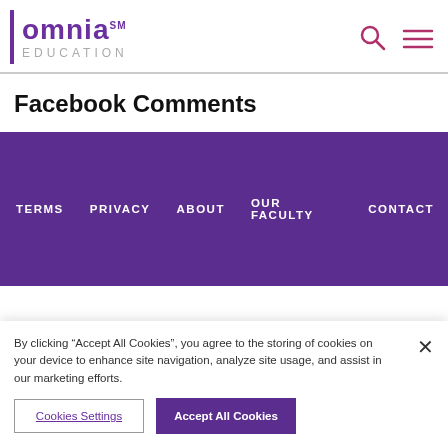[Figure (logo): Omnia Education logo with purple vertical bar, 'omnia' in bold purple, superscript 'SM', and 'EDUCATION' in grey caps below]
Facebook Comments
TERMS   PRIVACY   ABOUT   OUR FACULTY   CONTACT
By clicking “Accept All Cookies”, you agree to the storing of cookies on your device to enhance site navigation, analyze site usage, and assist in our marketing efforts.
Cookies Settings   Accept All Cookies